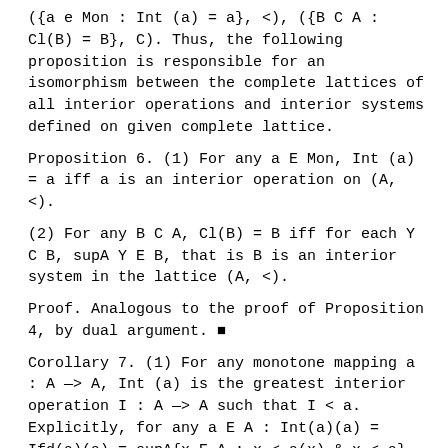({a e Mon : Int (a) = a}, <), ({B C A : Cl(B) = B}, C). Thus, the following proposition is responsible for an isomorphism between the complete lattices of all interior operations and interior systems defined on given complete lattice.
Proposition 6. (1) For any a E Mon, Int (a) = a iff a is an interior operation on (A, <).
(2) For any B C A, Cl(B) = B iff for each Y C B, supA Y E B, that is B is an interior system in the lattice (A, <).
Proof. Analogous to the proof of Proposition 4, by dual argument. ■
Corollary 7. (1) For any monotone mapping a : A —> A, Int (a) is the greatest interior operation I : A —> A such that I < a. Explicitly, for any a E A : Int(a)(a) = Ifd(a)(a) = supA{x E A : x < a(x) & x < a}.
(2) For any B C A, Cl(B) is the least interior system Z C A such that B C Z (that is Cl(B) = [B]in). Explicitly, Cl(B) = {supA Y : Y C B}.
Proof. Analogous to the proof of Corollary 5, by dual